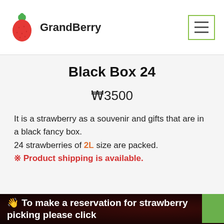GrandBerry
Black Box 24
₩3500
It is a strawberry as a souvenir and gifts that are in a black fancy box.
24 strawberries of 2L size are packed.
※ Product shipping is available.
👋 To make a reservation for strawberry picking please click